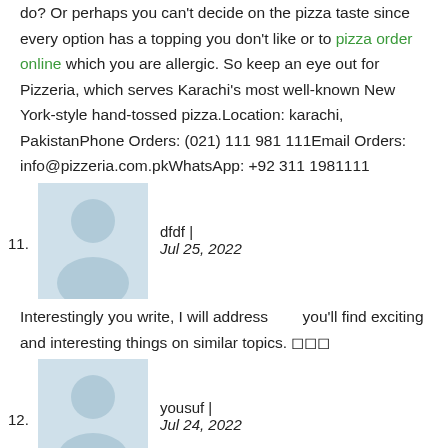do? Or perhaps you can't decide on the pizza taste since every option has a topping you don't like or to pizza order online which you are allergic. So keep an eye out for Pizzeria, which serves Karachi's most well-known New York-style hand-tossed pizza.Location: karachi, PakistanPhone Orders: (021) 111 981 111Email Orders: info@pizzeria.com.pkWhatsApp: +92 311 1981111
[Figure (illustration): User avatar placeholder - light blue background with silhouette of a person]
dfdf | Jul 25, 2022
Interestingly you write, I will address       you'll find exciting and interesting things on similar topics. 🔲🔲🔲
[Figure (illustration): User avatar placeholder - light blue background with silhouette of a person]
yousuf | Jul 24, 2022
Everyone loves your blog.. comfortable shades & concept. Do an individual design and style this website yourself or perhaps do anyone hire an attorney to accomplish it available for you?